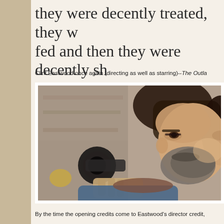they were decently treated, they w fed and then they were decently sh
Clint Eastwood once again (directing as well as starring)--The Outla
[Figure (photo): Close-up photo of Clint Eastwood with beard, pointing a revolver toward the camera, wearing a blue jacket and brown scarf. Background shows a wooden wall.]
By the time the opening credits come to Eastwood's director credit,